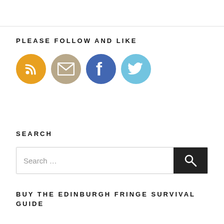PLEASE FOLLOW AND LIKE
[Figure (illustration): Four social media icon circles in a row: RSS (orange), Email (tan/grey), Facebook (blue), Twitter (light blue)]
SEARCH
[Figure (screenshot): Search input box with placeholder text 'Search ...' and a black search button with magnifying glass icon]
BUY THE EDINBURGH FRINGE SURVIVAL GUIDE